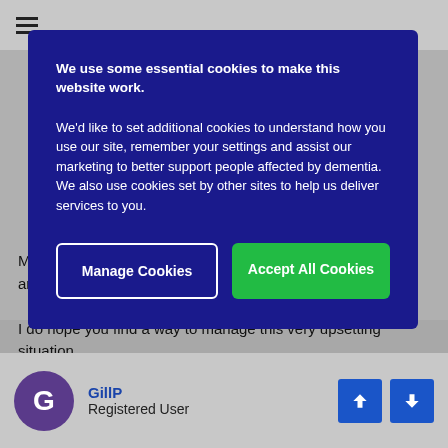[Figure (screenshot): Hamburger menu icon in top navigation bar]
My husband used to pack to go home almost every evening and when he didn't pack he just left the house.

I do hope you find a way to manage this very upsetting situation.
We use some essential cookies to make this website work.

We'd like to set additional cookies to understand how you use our site, remember your settings and assist our marketing to better support people affected by dementia. We also use cookies set by other sites to help us deliver services to you.
Manage Cookies
Accept All Cookies
GillP
Registered User